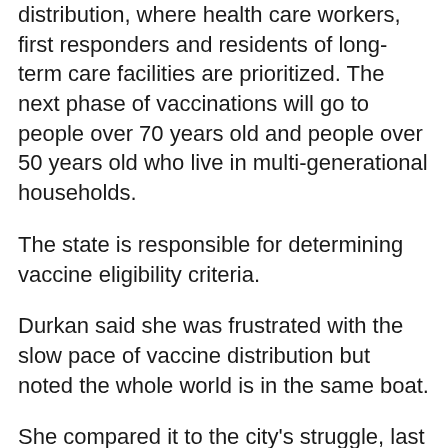distribution, where health care workers, first responders and residents of long-term care facilities are prioritized. The next phase of vaccinations will go to people over 70 years old and people over 50 years old who live in multi-generational households.
The state is responsible for determining vaccine eligibility criteria.
Durkan said she was frustrated with the slow pace of vaccine distribution but noted the whole world is in the same boat.
She compared it to the city's struggle, last spring, to secure enough coronavirus testing materials, calling it "deja vu all over again."
"We finally got the vaccine that can provide hope," Durkan said. "We're really going to rely on the federal government to provide a steady source."